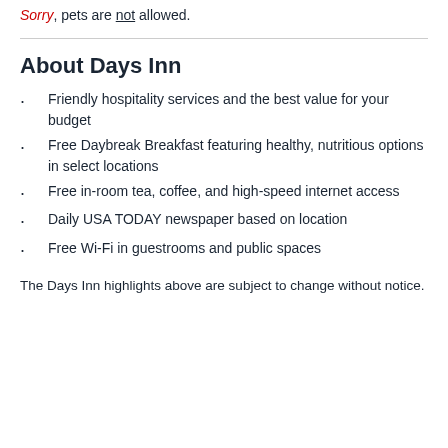Sorry, pets are not allowed.
About Days Inn
Friendly hospitality services and the best value for your budget
Free Daybreak Breakfast featuring healthy, nutritious options in select locations
Free in-room tea, coffee, and high-speed internet access
Daily USA TODAY newspaper based on location
Free Wi-Fi in guestrooms and public spaces
The Days Inn highlights above are subject to change without notice.